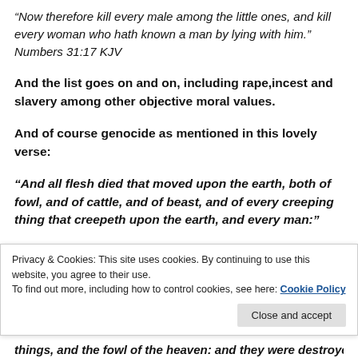“Now therefore kill every male among the little ones, and kill every woman who hath known a man by lying with him.” Numbers 31:17 KJV
And the list goes on and on, including rape,incest and slavery among other objective moral values.
And of course genocide as mentioned in this lovely verse:
“And all flesh died that moved upon the earth, both of fowl, and of cattle, and of beast, and of every creeping thing that creepeth upon the earth, and every man:”
things, and the fowl of the heaven: and they were destroyed
Privacy & Cookies: This site uses cookies. By continuing to use this website, you agree to their use.
To find out more, including how to control cookies, see here: Cookie Policy
Close and accept